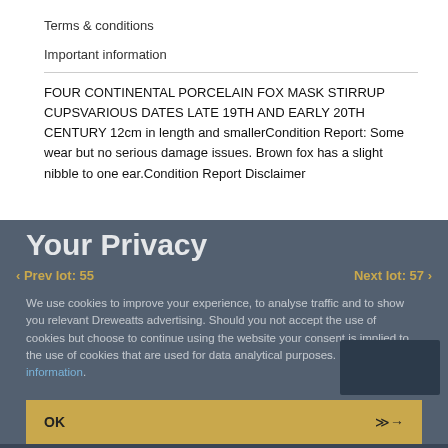Terms & conditions
Important information
FOUR CONTINENTAL PORCELAIN FOX MASK STIRRUP CUPSVARIOUS DATES LATE 19TH AND EARLY 20TH CENTURY 12cm in length and smallerCondition Report: Some wear but no serious damage issues. Brown fox has a slight nibble to one ear.Condition Report Disclaimer
Your Privacy
‹ Prev lot: 55
Next lot: 57 ›
We use cookies to improve your experience, to analyse traffic and to show you relevant Dreweatts advertising. Should you not accept the use of cookies but choose to continue using the website your consent is implied to the use of cookies that are used for data analytical purposes. More information.
OK